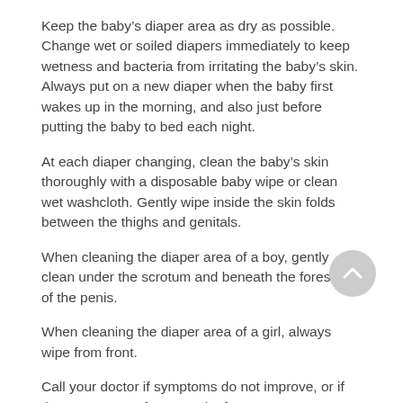Keep the baby’s diaper area as dry as possible. Change wet or soiled diapers immediately to keep wetness and bacteria from irritating the baby’s skin. Always put on a new diaper when the baby first wakes up in the morning, and also just before putting the baby to bed each night.
At each diaper changing, clean the baby’s skin thoroughly with a disposable baby wipe or clean wet washcloth. Gently wipe inside the skin folds between the thighs and genitals.
When cleaning the diaper area of a boy, gently clean under the scrotum and beneath the foreskin of the penis.
When cleaning the diaper area of a girl, always wipe from front.
Call your doctor if symptoms do not improve, or if they get worse after 1 week of treatment.
Store at room temperature away from moisture and heat.
What happens if I miss a